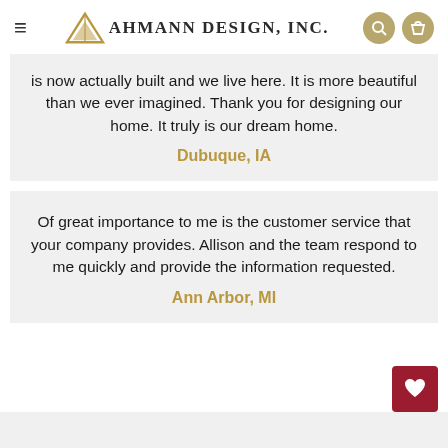≡  AHMANN DESIGN, INC.
is now actually built and we live here. It is more beautiful than we ever imagined. Thank you for designing our home. It truly is our dream home.
Dubuque, IA
Of great importance to me is the customer service that your company provides. Allison and the team respond to me quickly and provide the information requested.
Ann Arbor, MI